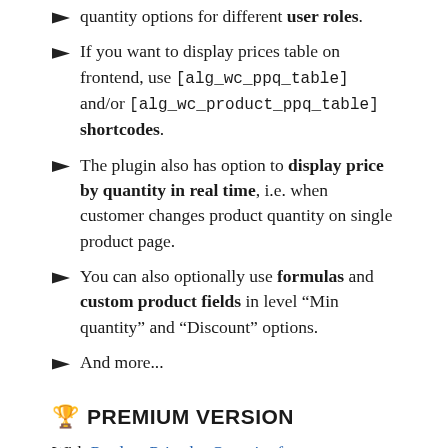quantity options for different user roles.
If you want to display prices table on frontend, use [alg_wc_ppq_table] and/or [alg_wc_product_ppq_table] shortcodes.
The plugin also has option to display price by quantity in real time, i.e. when customer changes product quantity on single product page.
You can also optionally use formulas and custom product fields in level “Min quantity” and “Discount” options.
And more...
🏆 PREMIUM VERSION
With Product Price by Quantity for WooCommerce Pro you can:
Set pricing rules per product category, per product tag or per product variation.